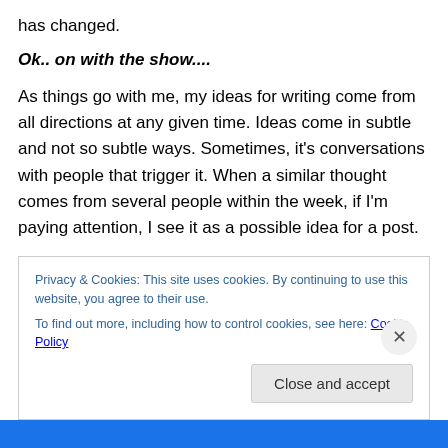has changed.
Ok.. on with the show....
As things go with me, my ideas for writing come from all directions at any given time. Ideas come in subtle and not so subtle ways. Sometimes, it's conversations with people that trigger it. When a similar thought comes from several people within the week, if I'm paying attention, I see it as a possible idea for a post.
Really, if it's the same idea from a few people, there are
Privacy & Cookies: This site uses cookies. By continuing to use this website, you agree to their use.
To find out more, including how to control cookies, see here: Cookie Policy
Close and accept